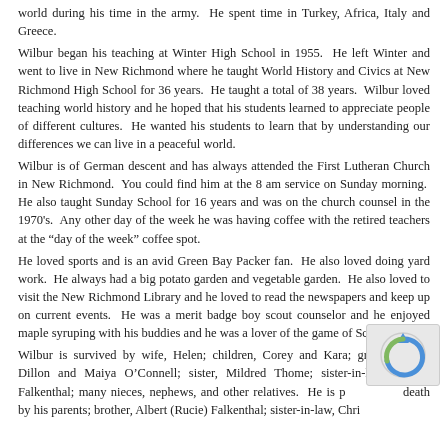world during his time in the army.  He spent time in Turkey, Africa, Italy and Greece.
Wilbur began his teaching at Winter High School in 1955.  He left Winter and went to live in New Richmond where he taught World History and Civics at New Richmond High School for 36 years.  He taught a total of 38 years.  Wilbur loved teaching world history and he hoped that his students learned to appreciate people of different cultures.  He wanted his students to learn that by understanding our differences we can live in a peaceful world.
Wilbur is of German descent and has always attended the First Lutheran Church in New Richmond.  You could find him at the 8 am service on Sunday morning.  He also taught Sunday School for 16 years and was on the church counsel in the 1970's.  Any other day of the week he was having coffee with the retired teachers at the “day of the week” coffee spot.
He loved sports and is an avid Green Bay Packer fan.  He also loved doing yard work.  He always had a big potato garden and vegetable garden.  He also loved to visit the New Richmond Library and he loved to read the newspapers and keep up on current events.  He was a merit badge boy scout counselor and he enjoyed maple syruping with his buddies and he was a lover of the game of Scrabble.
Wilbur is survived by wife, Helen; children, Corey and Kara; grandchildren, Dillon and Maiya O’Connell; sister, Mildred Thome; sister-in-law, Shirley Falkenthal; many nieces, nephews, and other relatives.  He is preceded in death by his parents; brother, Albert (Rucie) Falkenthal; sister-in-law, Chris